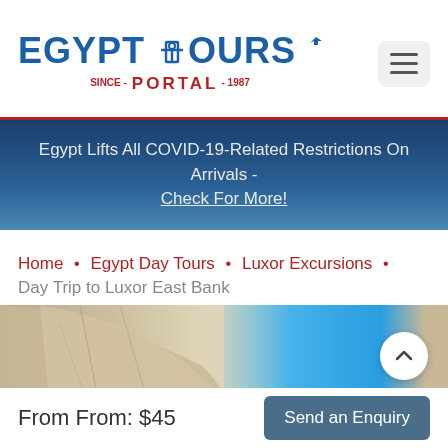[Figure (logo): Egypt Tours Portal logo with blue text, red PORTAL text, ankh symbol, and airplane icon, since 1987]
[Figure (screenshot): Hamburger menu icon in light gray rounded rectangle]
Egypt Lifts All COVID-19-Related Restrictions On Arrivals - Check For More!
Home • Egypt Day Tours • Luxor Excursions •
Day Trip to Luxor East Bank
[Figure (photo): Close-up photo of an ancient Egyptian statue torso with blue sky in background]
From From: $45
Send an Enquiry